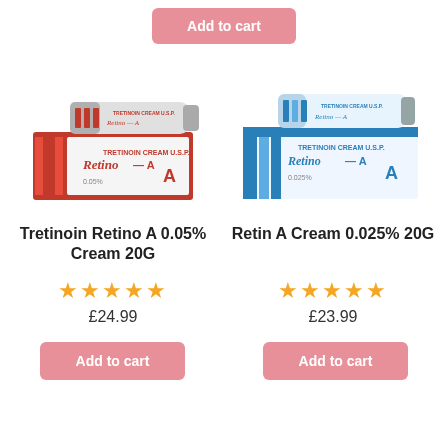Add to cart
[Figure (photo): Tretinoin Retino A 0.05% Cream 20G product box and tube with red branding]
[Figure (photo): Retin A Cream 0.025% 20G product box with blue and white branding]
Tretinoin Retino A 0.05% Cream 20G
★★★★★
£24.99
Add to cart
Retin A Cream 0.025% 20G
★★★★★
£23.99
Add to cart